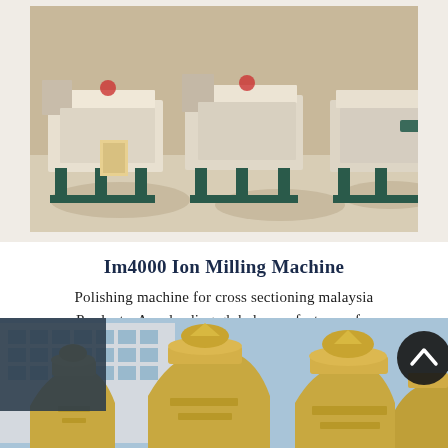[Figure (photo): Industrial milling machines (Ion Milling Machine) lined up outdoors on a concrete surface, machinery is light beige/tan colored with dark green/teal metal frame structures]
Im4000 Ion Milling Machine
Polishing machine for cross sectioning malaysia Products. As a leading global manufacturer of...
[Figure (photo): Large yellow industrial grinding/milling machines (vertical mill grinders) displayed outdoors with a multi-story building in the background against a blue sky]